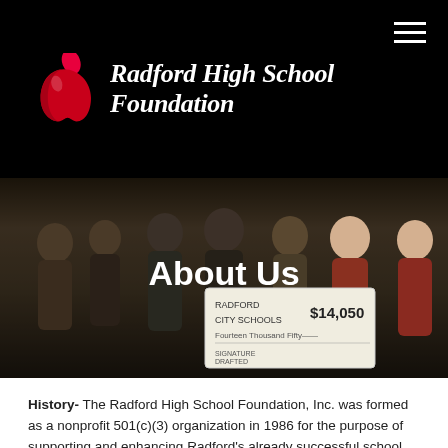Radford High School Foundation
[Figure (photo): Group of people posing with a large check made out to Radford City Schools for $14,050, with 'About Us' text overlay]
About Us
History- The Radford High School Foundation, Inc. was formed as a nonprofit 501(c)(3) organization in 1986 for the purpose of supporting and enhancing Radford's already successful school system. The foundation began as primarily an academic supporter, but has been able to further major athletic facility